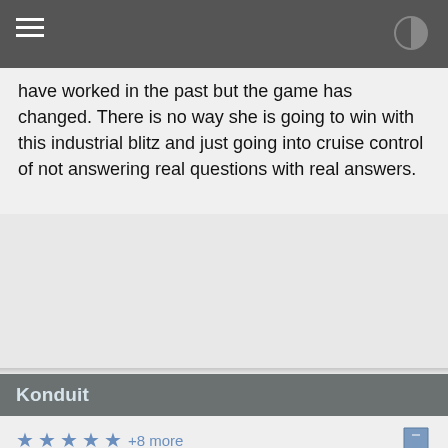have worked in the past but the game has changed. There is no way she is going to win with this industrial blitz and just going into cruise control of not answering real questions with real answers.
Konduit
★ ★ ★ ★ ★ +8 more
posted on Sep, 3 2016 @ 10:33 PM
a reply to: Darkinsider
Censorship
Not
News
Imagine if the tables were turned. The media has to constantly contrive these fake scandals on Trump to distract from the real scandals piling up around Hillary.